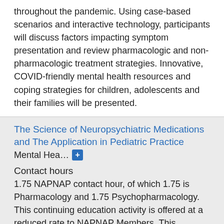throughout the pandemic. Using case-based scenarios and interactive technology, participants will discuss factors impacting symptom presentation and review pharmacologic and non-pharmacologic treatment strategies. Innovative, COVID-friendly mental health resources and coping strategies for children, adolescents and their families will be presented.
The Science of Neuropsychiatric Medications and The Application in Pediatric Practice
Mental Hea…
Contact hours
1.75 NAPNAP contact hour, of which 1.75 is Pharmacology and 1.75 Psychopharmacology. This continuing education activity is offered at a reduced rate to NAPNAP Members. This continuing education activity rate is $17.5 for NAPNAP Members. For non- members, this continuing education activity rate is $35. This presentation reviews the neurological/biological basis and treatment of psychiatric conditions common to children and adolescents. The presenters will cover the basic anatomy and physiology of the brain to guide a